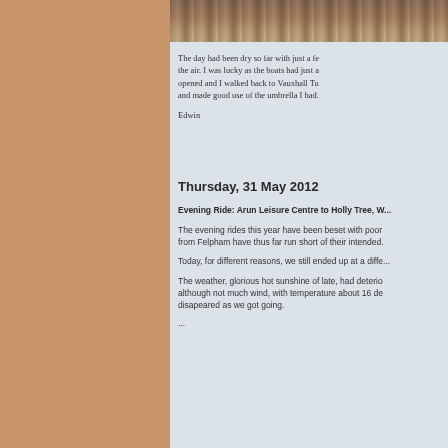[Figure (photo): Partial photo strip at top of content area showing water or outdoor scene]
The day had been dry so far with just a fe... the air. I was lucky as the boats had just a... opened and I walked back to Vauxhall Tu... and made good use of the umbrella I had...
Edwin
Thursday, 31 May 2012
Evening Ride: Arun Leisure Centre to Holly Tree, W...
The evening rides this year have been beset with poor... from Felpham have thus far run short of their intended...
Today, for different reasons, we still ended up at a diffe...
The weather, glorious hot sunshine of late, had deterio... although not much wind, with temperature about 16 de... disapeared as we got going.
...